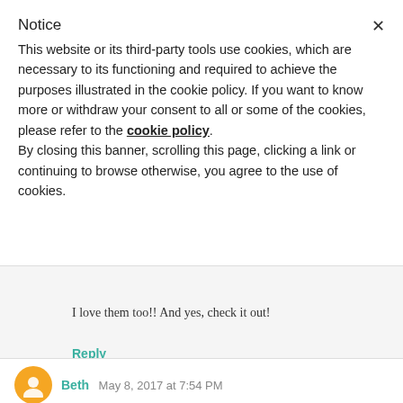Notice
This website or its third-party tools use cookies, which are necessary to its functioning and required to achieve the purposes illustrated in the cookie policy. If you want to know more or withdraw your consent to all or some of the cookies, please refer to the cookie policy.
By closing this banner, scrolling this page, clicking a link or continuing to browse otherwise, you agree to the use of cookies.
[Figure (illustration): Orange downward-pointing chevron/arrow icon]
I love them too!! And yes, check it out!
Reply
[Figure (illustration): Orange circular avatar with user icon]
Beth May 8, 2017 at 7:54 PM